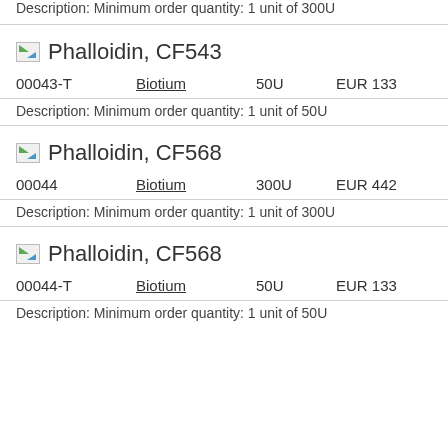Description: Minimum order quantity: 1 unit of 300U
Phalloidin, CF543
| ID | Vendor | Qty | Price |
| --- | --- | --- | --- |
| 00043-T | Biotium | 50U | EUR 133 |
Description: Minimum order quantity: 1 unit of 50U
Phalloidin, CF568
| ID | Vendor | Qty | Price |
| --- | --- | --- | --- |
| 00044 | Biotium | 300U | EUR 442 |
Description: Minimum order quantity: 1 unit of 300U
Phalloidin, CF568
| ID | Vendor | Qty | Price |
| --- | --- | --- | --- |
| 00044-T | Biotium | 50U | EUR 133 |
Description: Minimum order quantity: 1 unit of 50U